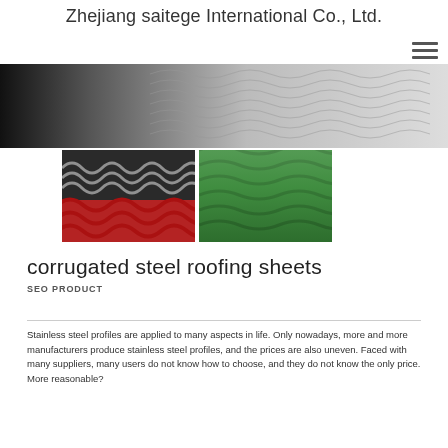Zhejiang saitege International Co., Ltd.
[Figure (photo): Hero banner showing corrugated steel roofing sheets in grey/silver tones with a dark-to-light gradient]
[Figure (photo): Two product photos side by side: left shows corrugated steel sheets in grey with red corrugated sheets below; right shows green corrugated roofing tiles]
corrugated steel roofing sheets
SEO PRODUCT
Stainless steel profiles are applied to many aspects in life. Only nowadays, more and more manufacturers produce stainless steel profiles, and the prices are also uneven. Faced with many suppliers, many users do not know how to choose, and they do not know the only price. More reasonable?